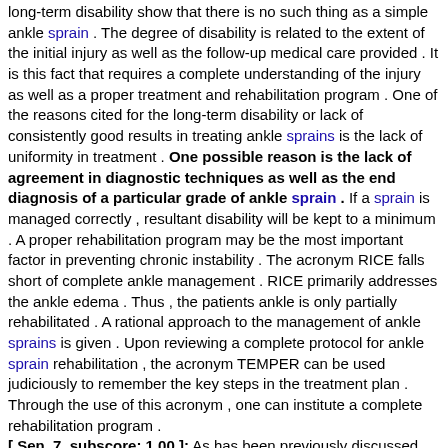long-term disability show that there is no such thing as a simple ankle sprain . The degree of disability is related to the extent of the initial injury as well as the follow-up medical care provided . It is this fact that requires a complete understanding of the injury as well as a proper treatment and rehabilitation program . One of the reasons cited for the long-term disability or lack of consistently good results in treating ankle sprains is the lack of uniformity in treatment . One possible reason is the lack of agreement in diagnostic techniques as well as the end diagnosis of a particular grade of ankle sprain . If a sprain is managed correctly , resultant disability will be kept to a minimum . A proper rehabilitation program may be the most important factor in preventing chronic instability . The acronym RICE falls short of complete ankle management . RICE primarily addresses the ankle edema . Thus , the patients ankle is only partially rehabilitated . A rational approach to the management of ankle sprains is given . Upon reviewing a complete protocol for ankle sprain rehabilitation , the acronym TEMPER can be used judiciously to remember the key steps in the treatment plan . Through the use of this acronym , one can institute a complete rehabilitation program . [ Sen. 7, subscore: 1.00 ]: As has been previously discussed , the incidence and resultant associated disabilities of ankle sprains have been well documented in the literature . The staggering statistics on long-term disability show that there is no such thing as a simple ankle sprain . The degree of disability is related to the extent of the initial injury as well as the follow-up medical care provided . It is this fact that requires a complete understanding of the injury as well as a proper treatment and rehabilitation program . One of the reasons cited for the long-term disability or lack of consistently good results in treating ankle sprains is the lack of uniformity in treatment . One possible reason is the lack of agreement in diagnostic techniques as well as the end diagnosis